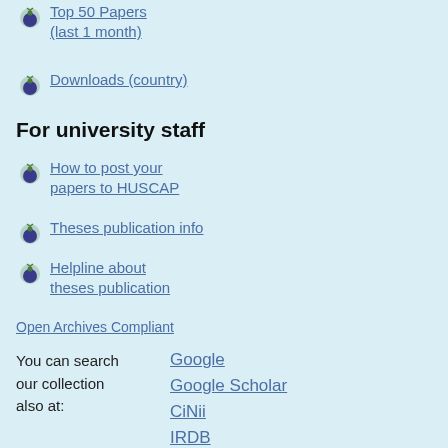Top 50 Papers (last 1 month)
Downloads (country)
For university staff
How to post your papers to HUSCAP
Theses publication info
Helpline about theses publication
Open Archives Compliant
You can search our collection also at:
Google
Google Scholar
CiNii
IRDB
OAIster
NDLTD